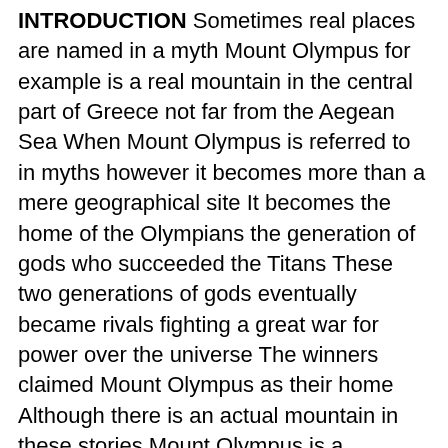INTRODUCTION Sometimes real places are named in a myth Mount Olympus for example is a real mountain in the central part of Greece not far from the Aegean Sea When Mount Olympus is referred to in myths however it becomes more than a mere geographical site It becomes the home of the Olympians the generation of gods who succeeded the Titans These two generations of gods eventually became rivals fighting a great war for power over the universe The winners claimed Mount Olympus as their home Although there is an actual mountain in these stories Mount Olympus is a mythical place that humans cannot visit It is a place outside real time and space Mount Olympus is not the same as Olympia a town in the western part of the Peloponnesus Like Mount Olympus Olympia was named for the Olympian gods There were important shrines in Olympia an area which 1 was settled even as early as the third millennium B C The first Olympic Games were probably held there sometime in the eighth century B C although they seem to have been 2 a carryover from an earlier tradition The purpose of the games was thought to be a kind of reenactment of the rivalry between the Olympian